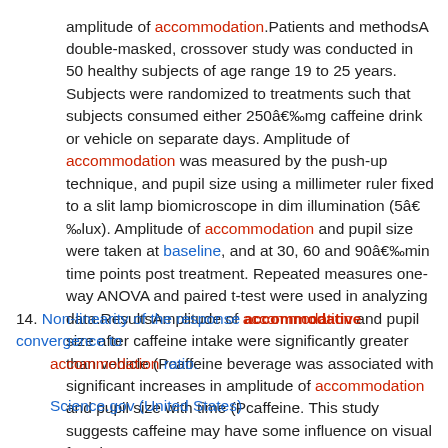amplitude of accommodation.Patients and methodsA double-masked, crossover study was conducted in 50 healthy subjects of age range 19 to 25 years. Subjects were randomized to treatments such that subjects consumed either 250â€‰mg caffeine drink or vehicle on separate days. Amplitude of accommodation was measured by the push-up technique, and pupil size using a millimeter ruler fixed to a slit lamp biomicroscope in dim illumination (5â€‰lux). Amplitude of accommodation and pupil size were taken at baseline, and at 30, 60 and 90â€‰min time points post treatment. Repeated measures one-way ANOVA and paired t-test were used in analyzing data.ResultsAmplitude of accommodation and pupil size after caffeine intake were significantly greater than vehicle (Pcaffeine beverage was associated with significant increases in amplitude of accommodation and pupil size with time (Pcaffeine. This study suggests caffeine may have some influence on visual functions.
14. Non-linearity of the response accommodative convergence to accommodation ratio.
Science.gov (United States)